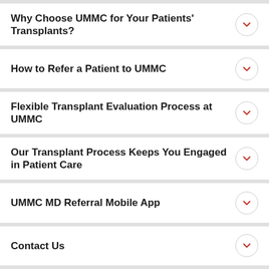Why Choose UMMC for Your Patients' Transplants?
How to Refer a Patient to UMMC
Flexible Transplant Evaluation Process at UMMC
Our Transplant Process Keeps You Engaged in Patient Care
UMMC MD Referral Mobile App
Contact Us